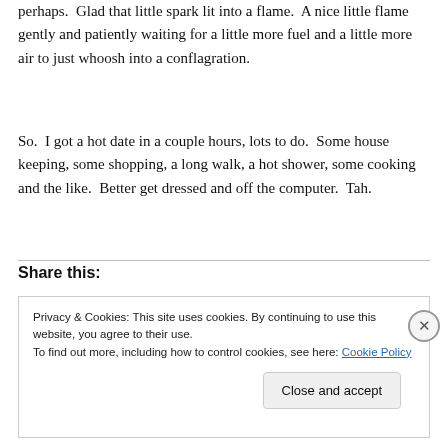perhaps.  Glad that little spark lit into a flame.  A nice little flame gently and patiently waiting for a little more fuel and a little more air to just whoosh into a conflagration.
So.  I got a hot date in a couple hours, lots to do.  Some house keeping, some shopping, a long walk, a hot shower, some cooking and the like.  Better get dressed and off the computer.  Tah.
Share this:
Privacy & Cookies: This site uses cookies. By continuing to use this website, you agree to their use.
To find out more, including how to control cookies, see here: Cookie Policy